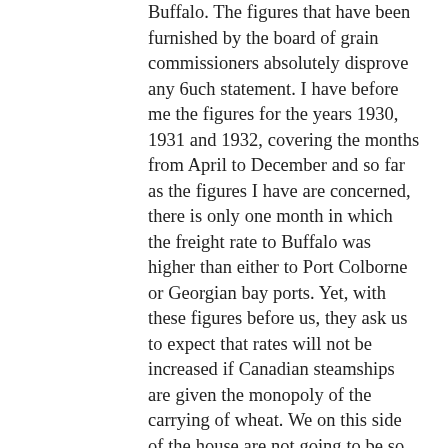Buffalo. The figures that have been furnished by the board of grain commissioners absolutely disprove any 6uch statement. I have before me the figures for the years 1930, 1931 and 1932, covering the months from April to December and so far as the figures I have are concerned, there is only one month in which the freight rate to Buffalo was higher than either to Port Colborne or Georgian bay ports. Yet, with these figures before us, they ask us to expect that rates will not be increased if Canadian steamships are given the monopoly of the carrying of wheat. We on this side of the house are not going to be so easily convinced as some hon.